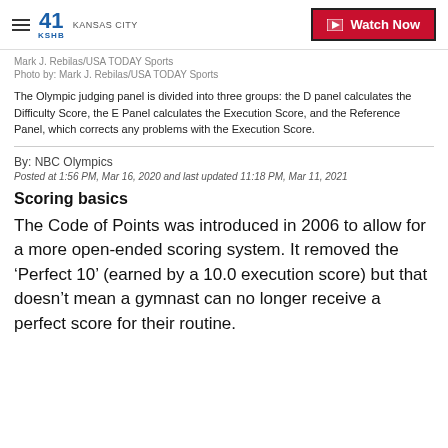41 KSHB KANSAS CITY | Watch Now
Mark J. Rebilas/USA TODAY Sports
Photo by: Mark J. Rebilas/USA TODAY Sports
The Olympic judging panel is divided into three groups: the D panel calculates the Difficulty Score, the E Panel calculates the Execution Score, and the Reference Panel, which corrects any problems with the Execution Score.
By: NBC Olympics
Posted at 1:56 PM, Mar 16, 2020 and last updated 11:18 PM, Mar 11, 2021
Scoring basics
The Code of Points was introduced in 2006 to allow for a more open-ended scoring system. It removed the ‘Perfect 10’ (earned by a 10.0 execution score) but that doesn’t mean a gymnast can no longer receive a perfect score for their routine.